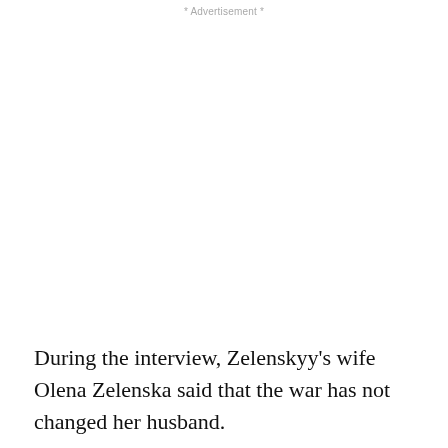* Advertisement *
During the interview, Zelenskyy's wife Olena Zelenska said that the war has not changed her husband.